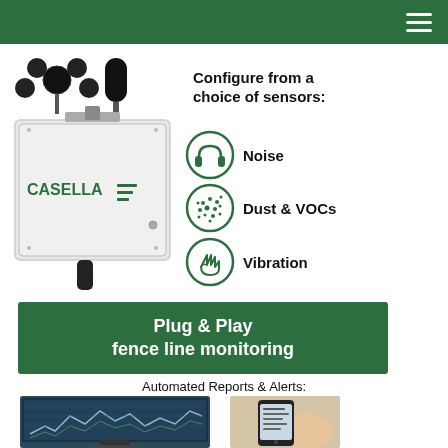[Figure (photo): Green navigation header bar with hamburger menu icon (three white horizontal lines) on the right side]
[Figure (photo): Casella environmental monitoring device - white metal box with sensors on top including anemometer and microphone, with Casella logo on the front]
Configure from a choice of sensors:
Noise
Dust & VOCs
Vibration
Plug & Play fence line monitoring
Automated Reports & Alerts:
[Figure (screenshot): Screenshot of monitoring dashboard on a tablet/monitor showing line graphs of sensor data]
[Figure (photo): Person holding a smartphone showing a text/alert notification screen]